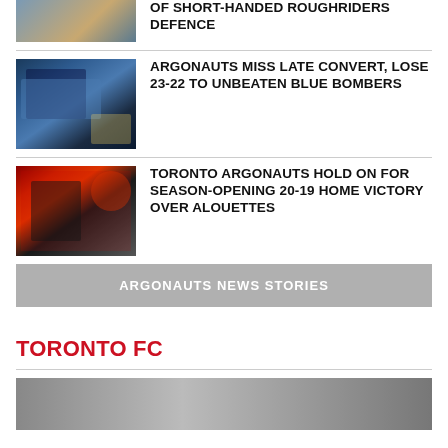[Figure (photo): Partial top football game photo (cropped at top)]
OF SHORT-HANDED ROUGHRIDERS DEFENCE
[Figure (photo): Football players tackling, Argonauts in blue and white uniforms]
ARGONAUTS MISS LATE CONVERT, LOSE 23-22 TO UNBEATEN BLUE BOMBERS
[Figure (photo): Toronto Argonauts players celebrating in red confetti at home opener]
TORONTO ARGONAUTS HOLD ON FOR SEASON-OPENING 20-19 HOME VICTORY OVER ALOUETTES
ARGONAUTS NEWS STORIES
TORONTO FC
[Figure (photo): Partial photo at bottom of page]